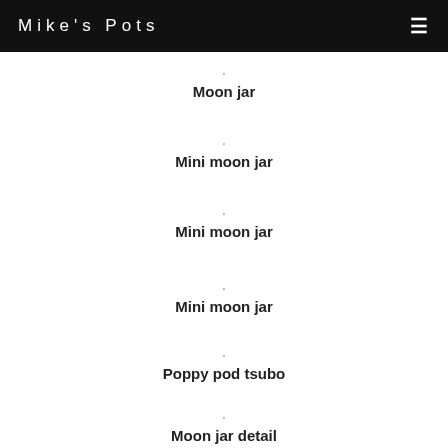Mike's Pots
Moon jar
Mini moon jar
Mini moon jar
Mini moon jar
Poppy pod tsubo
Moon jar detail